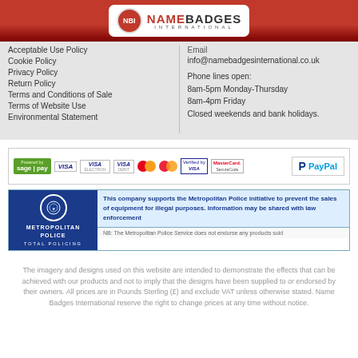[Figure (logo): Name Badges International logo with NBI circular emblem on red background]
Acceptable Use Policy
Cookie Policy
Privacy Policy
Return Policy
Terms and Conditions of Sale
Terms of Website Use
Environmental Statement
Email
info@namebadgesinternational.co.uk
Phone lines open:
8am-5pm Monday-Thursday
8am-4pm Friday
Closed weekends and bank holidays.
[Figure (infographic): Payment method logos: Sage Pay, VISA variants, MasterCard, Verified by VISA, MasterCard SecureCode, PayPal]
[Figure (infographic): Metropolitan Police Total Policing badge supporting initiative to prevent sales of equipment for illegal purposes]
The imagery and designs used on this website are intended to demonstrate the effects that can be achieved with our products and not to imply that the designs have been supplied to or endorsed by their owners. All prices are in Pounds Sterling (£) and exclude VAT unless otherwise stated. Name Badges International reserve the right to change prices at any time without notice.